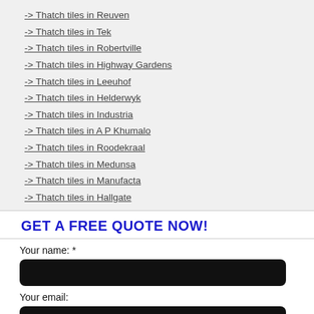-> Thatch tiles in Reuven
-> Thatch tiles in Tek
-> Thatch tiles in Robertville
-> Thatch tiles in Highway Gardens
-> Thatch tiles in Leeuhof
-> Thatch tiles in Helderwyk
-> Thatch tiles in Industria
-> Thatch tiles in A P Khumalo
-> Thatch tiles in Roodekraal
-> Thatch tiles in Medunsa
-> Thatch tiles in Manufacta
-> Thatch tiles in Hallgate
-> Thatch tiles in Lombardy East
GET A FREE QUOTE NOW!
Your name: *
Your email: